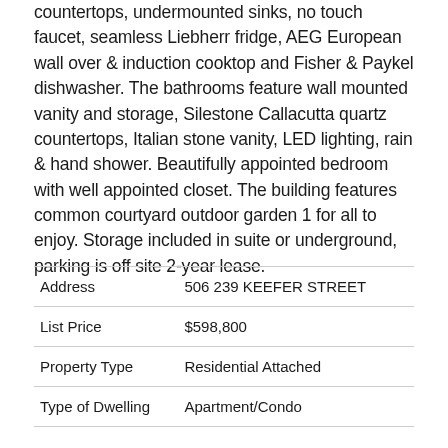countertops, undermounted sinks, no touch faucet, seamless Liebherr fridge, AEG European wall over & induction cooktop and Fisher & Paykel dishwasher. The bathrooms feature wall mounted vanity and storage, Silestone Callacutta quartz countertops, Italian stone vanity, LED lighting, rain & hand shower. Beautifully appointed bedroom with well appointed closet. The building features common courtyard outdoor garden 1 for all to enjoy. Storage included in suite or underground, parking is off site 2-year lease.
|  |  |
| --- | --- |
| Address | 506 239 KEEFER STREET |
| List Price | $598,800 |
| Property Type | Residential Attached |
| Type of Dwelling | Apartment/Condo |